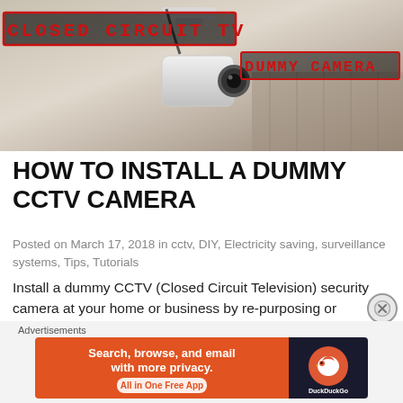[Figure (photo): CCTV dummy camera mounted on wall/ceiling, with text overlay 'CLOSED CIRCUIT TV' and 'DUMMY CAMERA' in red monospace font on dark background]
HOW TO INSTALL A DUMMY CCTV CAMERA
Posted on March 17, 2018 in cctv, DIY, Electricity saving, surveillance systems, Tips, Tutorials
Install a dummy CCTV (Closed Circuit Television) security camera at your home or business by re-purposing or transforming an older / outdated /
Advertisements
[Figure (screenshot): DuckDuckGo advertisement banner: orange background on left with text 'Search, browse, and email with more privacy. All in One Free App', dark background on right with DuckDuckGo logo]